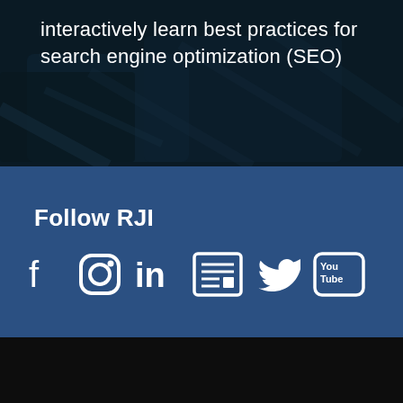[Figure (photo): Dark background image with overlaid white text about interactively learning SEO best practices]
interactively learn best practices for search engine optimization (SEO)
Follow RJI
[Figure (infographic): Social media icons: Facebook, Instagram, LinkedIn, Newspaper/RSS, Twitter, YouTube on blue background]
News & events
RJI news
RJI columns